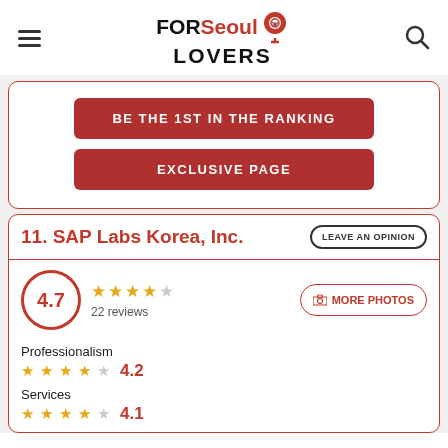FOR Seoul LOVERS
BE THE 1ST IN THE RANKING
EXCLUSIVE PAGE
11. SAP Labs Korea, Inc.
4.7 — 22 reviews
MORE PHOTOS
Professionalism 4.2
Services 4.1